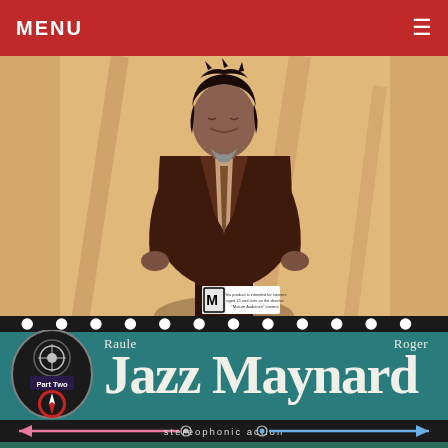MENU
[Figure (illustration): Comic book cover art showing a man in a suit with dark wavy hair, looking downward, standing against an orange/tan wall background. An M rating badge is visible at the bottom left of the image.]
[Figure (illustration): Teal band with Jazz Maynard Part Two badge/logo on left, authors 'Raule' and 'Roger' above the large title text 'Jazz Maynard', with a filmstrip dot border at top. Below is a black bar with pink and blue arrows and text 'stereophonic action'.]
Jazz Maynard
Raule   Roger
stereophonic action